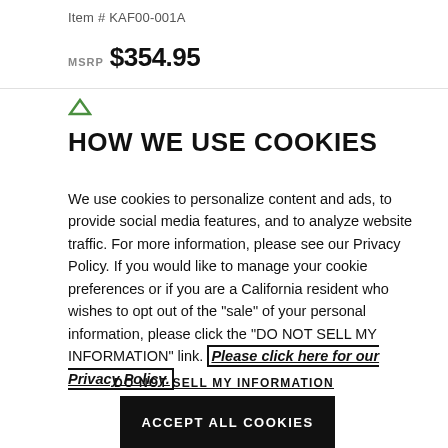Item # KAF00-001A
MSRP $354.95
HOW WE USE COOKIES
We use cookies to personalize content and ads, to provide social media features, and to analyze website traffic. For more information, please see our Privacy Policy. If you would like to manage your cookie preferences or if you are a California resident who wishes to opt out of the "sale" of your personal information, please click the "DO NOT SELL MY INFORMATION" link. Please click here for our Privacy Policy.
DO NOT SELL MY INFORMATION
ACCEPT ALL COOKIES